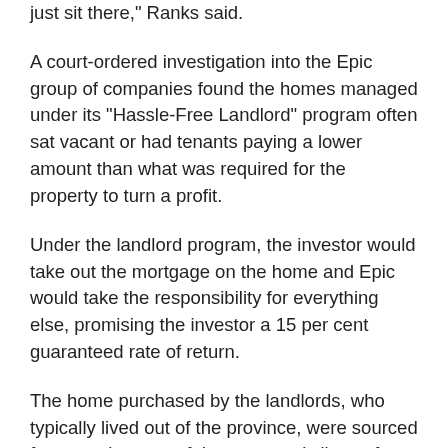just sit there," Ranks said.
A court-ordered investigation into the Epic group of companies found the homes managed under its "Hassle-Free Landlord" program often sat vacant or had tenants paying a lower amount than what was required for the property to turn a profit.
Under the landlord program, the investor would take out the mortgage on the home and Epic would take the responsibility for everything else, promising the investor a 15 per cent guaranteed rate of return.
The home purchased by the landlords, who typically lived out of the province, were sourced from another one of the company's lines of